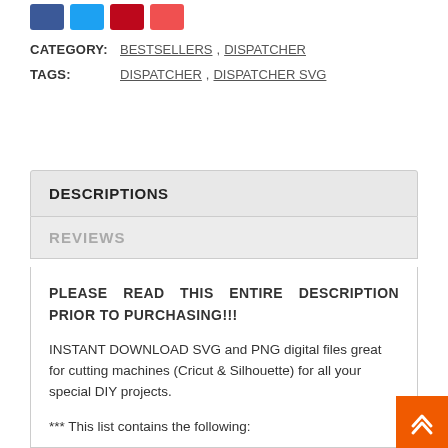[Figure (other): Social share buttons: Facebook (blue), Twitter (light blue), Pinterest (red), Email (orange-red)]
CATEGORY: BESTSELLERS , DISPATCHER
TAGS: DISPATCHER , DISPATCHER SVG
DESCRIPTIONS
REVIEWS
PLEASE READ THIS ENTIRE DESCRIPTION PRIOR TO PURCHASING!!!
INSTANT DOWNLOAD SVG and PNG digital files great for cutting machines (Cricut & Silhouette) for all your special DIY projects.
*** This list contains the following:
– SVG files are perfect for cutting machines such as Cricut and Silhouette. They can be used to make shirts, mugs, decals and more. The colors and sizes can be changed